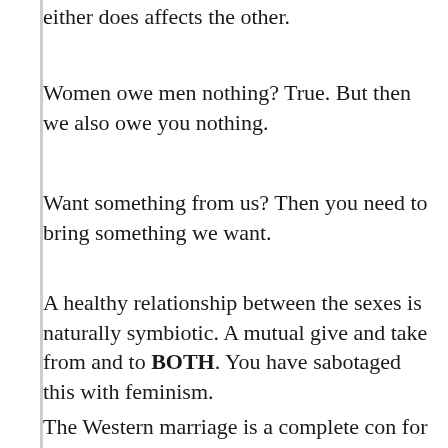We are two halves of the same species. What either does affects the other.
Women owe men nothing? True. But then we also owe you nothing.
Want something from us? Then you need to bring something we want.
A healthy relationship between the sexes is naturally symbiotic. A mutual give and take from and to BOTH. You have sabotaged this with feminism.
The Western marriage is a complete con for men. None of them should consider it for l